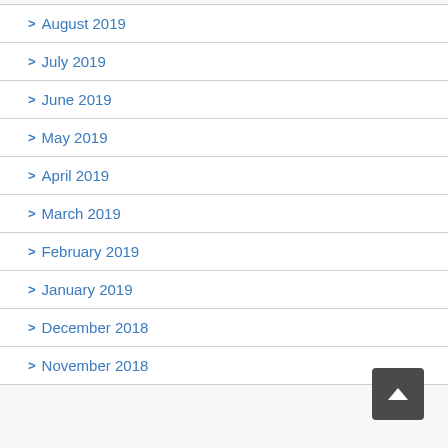> August 2019
> July 2019
> June 2019
> May 2019
> April 2019
> March 2019
> February 2019
> January 2019
> December 2018
> November 2018